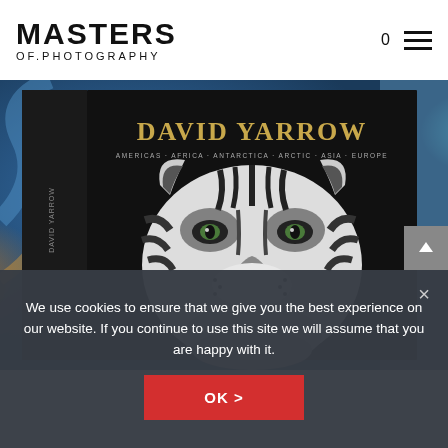MASTERS OF.PHOTOGRAPHY
[Figure (photo): A photography book by David Yarrow with a tiger face on the cover, displayed against a blue/grey swirling background. The book cover reads: DAVID YARROW, AMERICAS · AFRICA · ANTARCTICA · ARCTIC · ASIA · EUROPE]
We use cookies to ensure that we give you the best experience on our website. If you continue to use this site we will assume that you are happy with it.
OK >